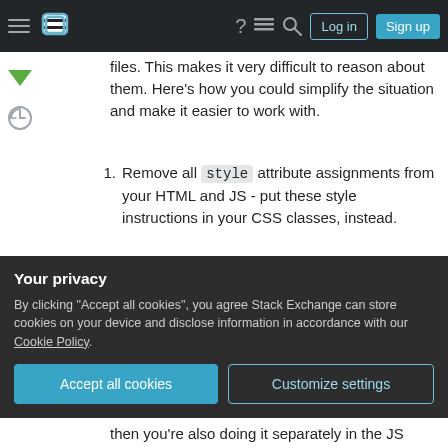Stack Exchange navigation bar with Log in and Sign up buttons
files. This makes it very difficult to reason about them. Here's how you could simplify the situation and make it easier to work with.
1. Remove all style attribute assignments from your HTML and JS - put these style instructions in your CSS classes, instead.
2. Replace the style attribute assignments in your JS code with class assignments to simplify things and reduce the number of (expensive!) DOM queries you are running whenever the
Your privacy
By clicking "Accept all cookies", you agree Stack Exchange can store cookies on your device and disclose information in accordance with our Cookie Policy.
then you're also doing it separately in the JS